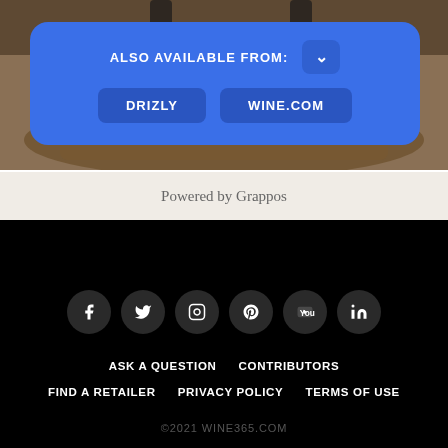[Figure (photo): Background photo of wine barrels with wine bottles on top, partially visible]
ALSO AVAILABLE FROM:
DRIZLY
WINE.COM
Powered by Grappos
[Figure (infographic): Social media icons row: Facebook, Twitter, Instagram, Pinterest, YouTube, LinkedIn — white icons on dark grey circles, black background]
ASK A QUESTION
CONTRIBUTORS
FIND A RETAILER
PRIVACY POLICY
TERMS OF USE
©2021 WINE365.COM